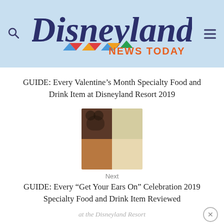Disneyland News Today
GUIDE: Every Valentine’s Month Specialty Food and Drink Item at Disneyland Resort 2019
[Figure (photo): Collage of specialty food and drink items from Disneyland Resort]
Next
GUIDE: Every “Get Your Ears On” Celebration 2019 Specialty Food and Drink Item Reviewed at the Disneyland Resort